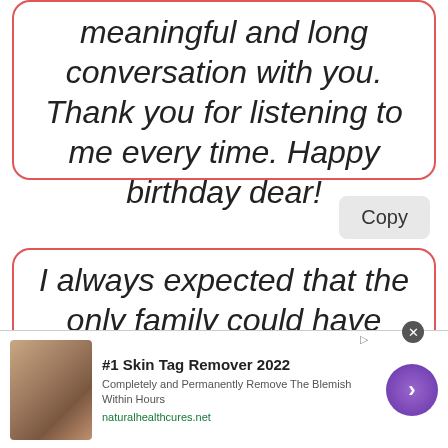meaningful and long conversation with you. Thank you for listening to me every time. Happy birthday dear!
Copy
I always expected that the only family could have good ears to
[Figure (infographic): Advertisement banner for #1 Skin Tag Remover 2022 with skin image, text, and purple arrow button. URL: naturalhealthcures.net]